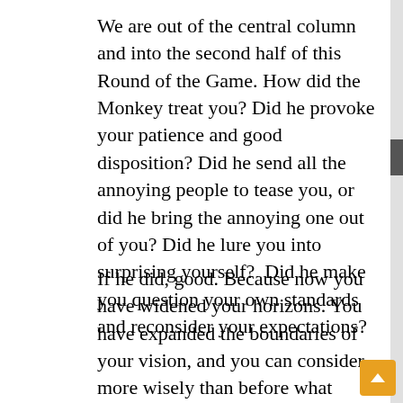We are out of the central column and into the second half of this Round of the Game. How did the Monkey treat you? Did he provoke your patience and good disposition? Did he send all the annoying people to tease you, or did he bring the annoying one out of you? Did he lure you into surprising yourself?  Did he make you question your own standards and reconsider your expectations?
If he did, good. Because now you have widened your horizons. You have expanded the boundaries of your vision, and you can consider more wisely than before what seeds you want to plant in the garden of your reality. The Seed represents your greatest potential that can never be fully realized because it never stops growing. It is